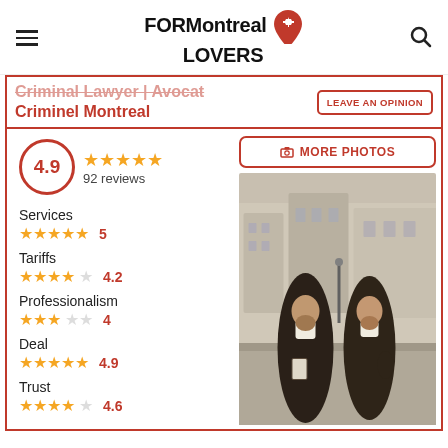FORMontreal LOVERS
Criminal Lawyer | Avocat Criminel Montreal
LEAVE AN OPINION
4.9 — 92 reviews
Services 5
Tariffs 4.2
Professionalism 4
Deal 4.9
Trust 4.6
[Figure (photo): Two lawyers in black robes and white collars walking on a Montreal street with classical stone buildings in the background]